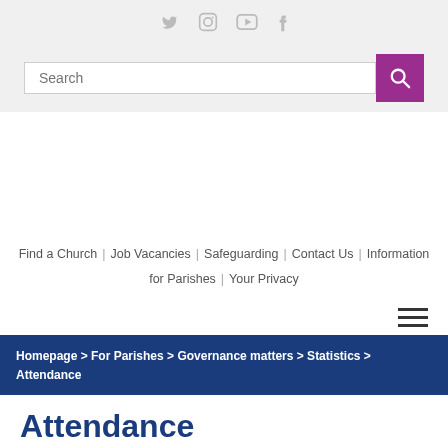Social media icons: Twitter, Instagram, YouTube, Facebook
[Figure (screenshot): Search input bar with purple search button]
[Figure (other): White advertisement/banner area]
Find a Church | Job Vacancies | Safeguarding | Contact Us | Information for Parishes | Your Privacy
[Figure (other): Hamburger menu icon (three horizontal lines)]
Homepage > For Parishes > Governance matters > Statistics > Attendance
Attendance